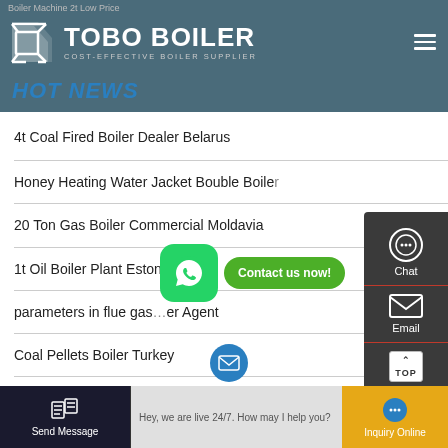Boiler Machine 2t Low Price
[Figure (logo): TOBO BOILER logo with triangle icon and text 'COST-EFFECTIVE BOILER SUPPLIER']
HOT NEWS
4t Coal Fired Boiler Dealer Belarus
Honey Heating Water Jacket Bouble Boile…
20 Ton Gas Boiler Commercial Moldavia
1t Oil Boiler Plant Estonia
parameters in flue gas… er Agent
Coal Pellets Boiler Turkey
[Figure (screenshot): Side panel with Chat, Email, TOP, and Contact buttons]
[Figure (screenshot): WhatsApp button (green) and 'Contact us now!' bubble]
Send Message | Hey, we are live 24/7. How may I help you? | Inquiry Online